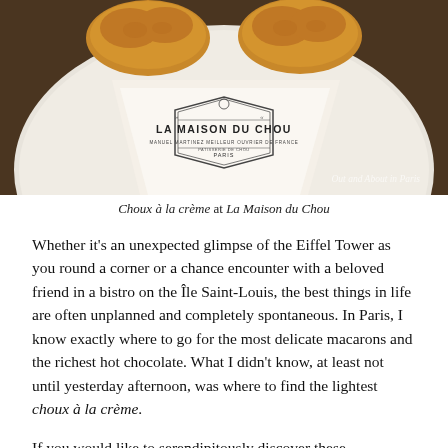[Figure (photo): Photo of choux à la crème pastries on a white plate with a La Maison du Chou branded napkin/paper in Paris. Watermark text 'Out and About in Paris' visible in bottom right.]
Choux à la crème at La Maison du Chou
Whether it's an unexpected glimpse of the Eiffel Tower as you round a corner or a chance encounter with a beloved friend in a bistro on the Île Saint-Louis, the best things in life are often unplanned and completely spontaneous. In Paris, I know exactly where to go for the most delicate macarons and the richest hot chocolate. What I didn't know, at least not until yesterday afternoon, was where to find the lightest choux à la crème.
If you would like to serendipitously discover these